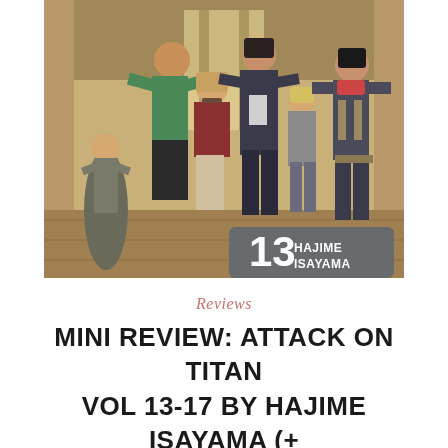[Figure (illustration): Manga cover art for Attack on Titan Volume 13 by Hajime Isayama, showing multiple anime-style characters (soldiers/scouts) standing together in an indoor setting. A dark rounded-rectangle badge in the lower right shows '13' in large white text and 'HAJIME ISAYAMA' in smaller white uppercase text.]
Reviews
MINI REVIEW: ATTACK ON TITAN VOL 13-17 BY HAJIME ISAYAMA (+ VIDEO)